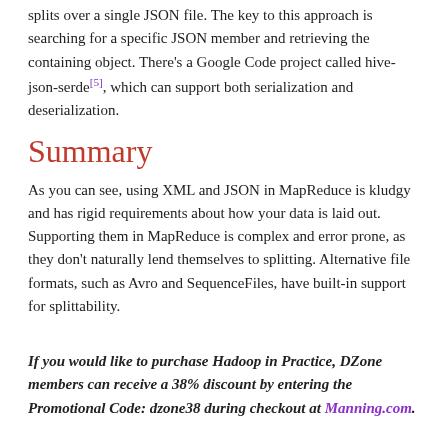splits over a single JSON file. The key to this approach is searching for a specific JSON member and retrieving the containing object. There's a Google Code project called hive-json-serde[5], which can support both serialization and deserialization.
Summary
As you can see, using XML and JSON in MapReduce is kludgy and has rigid requirements about how your data is laid out. Supporting them in MapReduce is complex and error prone, as they don't naturally lend themselves to splitting. Alternative file formats, such as Avro and SequenceFiles, have built-in support for splittability.
If you would like to purchase Hadoop in Practice, DZone members can receive a 38% discount by entering the Promotional Code: dzone38 during checkout at Manning.com.